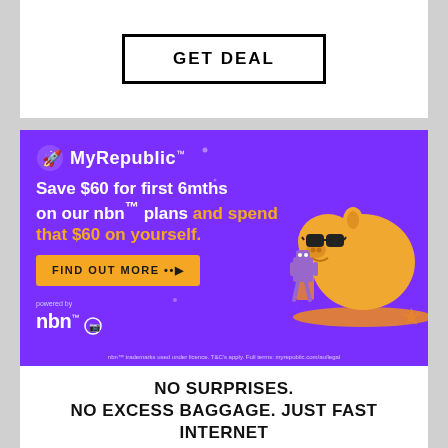GET DEAL
[Figure (illustration): MyRepublic advertisement banner on purple background. Text: 'Save $60 for first 6mths on our nbn plans and spend that $60 on yourself.' Button: 'FIND OUT MORE'. Powered by nbn logo. Decorative piggy bank with sunglasses illustration on right side.]
nbn™ trademarks used under licence. T&C's apply. Full terms: myrepublic.com/au/legal
NO SURPRISES. NO EXCESS BAGGAGE. JUST FAST INTERNET BACKED UP BY THE MYREPUBLIC INTERNET 30 DAY HAPPINESS GUARANTEE